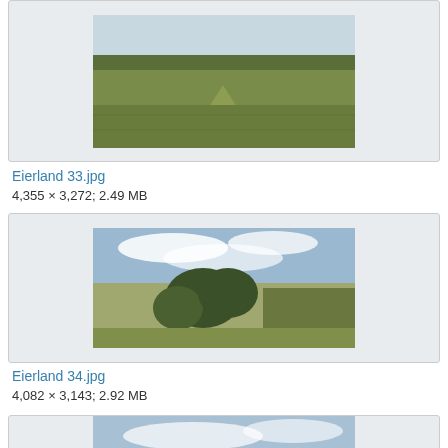[Figure (photo): Landscape photo (top, cropped) — grass dunes and vegetation, Eierland 33]
Eierland 33.jpg
4,355 × 3,272; 2.49 MB
[Figure (photo): Landscape photo — shrub tree in foreground with open flat land behind, Eierland 34]
Eierland 34.jpg
4,082 × 3,143; 2.92 MB
[Figure (photo): Landscape photo (bottom, partially visible) — open sky and flat land, Eierland 35]